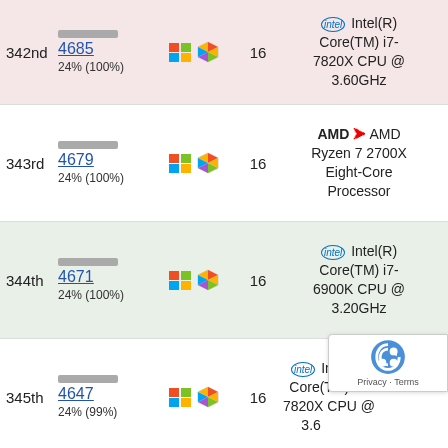| Rank | Score | OS/Bench | Threads | CPU Name |
| --- | --- | --- | --- | --- |
| 342nd | 4685
24% (100%) | Windows / Cinebench | 16 | Intel(R) Core(TM) i7-7820X CPU @ 3.60GHz |
| 343rd | 4679
24% (100%) | Windows / Cinebench | 16 | AMD Ryzen 7 2700X Eight-Core Processor |
| 344th | 4671
24% (100%) | Windows / Cinebench | 16 | Intel(R) Core(TM) i7-6900K CPU @ 3.20GHz |
| 345th | 4647
24% (99%) | Windows / Cinebench | 16 | Intel(R) Core(TM) i7-7820X CPU @ 3.60GHz |
| 346th | 4635
... | Windows / Cinebench | 16 | AMD Ryzen 7 2700X Eight-Core Processor |